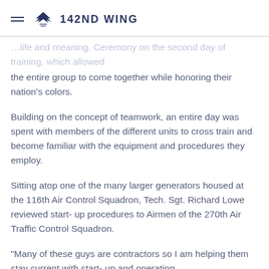142ND WING
…life and meaning. Ceremony on the second day of training, which allowed the entire group to come together while honoring their nation's colors.
Building on the concept of teamwork, an entire day was spent with members of the different units to cross train and become familiar with the equipment and procedures they employ.
Sitting atop one of the many larger generators housed at the 116th Air Control Squadron, Tech. Sgt. Richard Lowe reviewed start- up procedures to Airmen of the 270th Air Traffic Control Squadron.
"Many of these guys are contractors so I am helping them stay current with start- up and operating procedures with the equipment we use," he said.